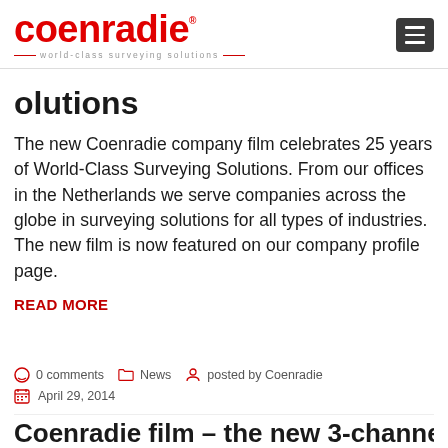coenradie world-class surveying solutions
olutions
The new Coenradie company film celebrates 25 years of World-Class Surveying Solutions. From our offices in the Netherlands we serve companies across the globe in surveying solutions for all types of industries. The new film is now featured on our company profile page.
READ MORE
0 comments   News   posted by Coenradie
April 29, 2014